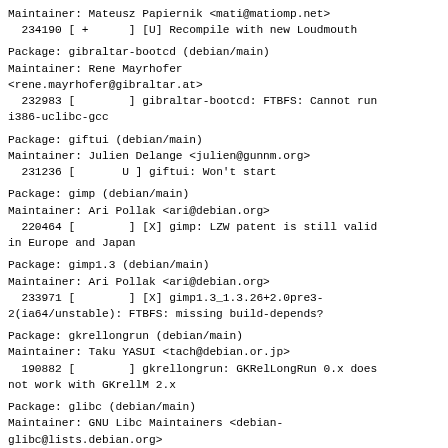Maintainer: Mateusz Papiernik <mati@matiomp.net>
  234190 [ +      ] [U] Recompile with new Loudmouth
Package: gibraltar-bootcd (debian/main)
Maintainer: Rene Mayrhofer
<rene.mayrhofer@gibraltar.at>
  232983 [        ] gibraltar-bootcd: FTBFS: Cannot run i386-uclibc-gcc
Package: giftui (debian/main)
Maintainer: Julien Delange <julien@gunnm.org>
  231236 [       U ] giftui: Won't start
Package: gimp (debian/main)
Maintainer: Ari Pollak <ari@debian.org>
  220464 [        ] [X] gimp: LZW patent is still valid in Europe and Japan
Package: gimp1.3 (debian/main)
Maintainer: Ari Pollak <ari@debian.org>
  233971 [        ] [X] gimp1.3_1.3.26+2.0pre3-2(ia64/unstable): FTBFS: missing build-depends?
Package: gkrellongrun (debian/main)
Maintainer: Taku YASUI <tach@debian.or.jp>
  190882 [        ] gkrellongrun: GKRelLongRun 0.x does not work with GKrellM 2.x
Package: glibc (debian/main)
Maintainer: GNU Libc Maintainers <debian-glibc@lists.debian.org>